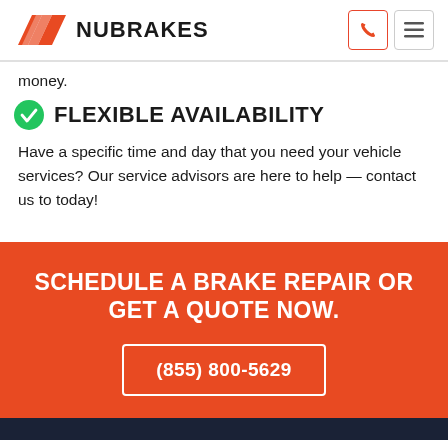NUBRAKES
money.
FLEXIBLE AVAILABILITY
Have a specific time and day that you need your vehicle services? Our service advisors are here to help — contact us to today!
SCHEDULE A BRAKE REPAIR OR GET A QUOTE NOW.
(855) 800-5629